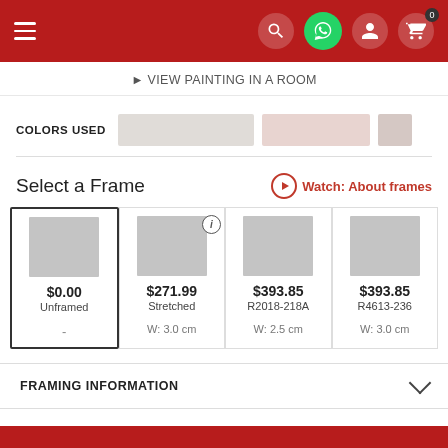Navigation header with hamburger menu, search, WhatsApp, account, and cart icons
VIEW PAINTING IN A ROOM
COLORS USED
Select a Frame
Watch: About frames
| Price | Name | Width |
| --- | --- | --- |
| $0.00 | Unframed | - |
| $271.99 | Stretched | W: 3.0 cm |
| $393.85 | R2018-218A | W: 2.5 cm |
| $393.85 | R4613-236 | W: 3.0 cm |
FRAMING INFORMATION